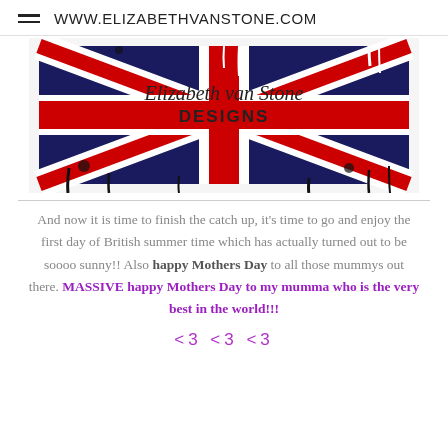WWW.ELIZABETHVANSTONE.COM
[Figure (logo): Elizabeth van Stone DESIGNS logo on a Union Jack flag with paint splatter artistic effect in red, white, blue and black]
And now it is time to finish the catch up, it's time to go and enjoy the first day of British summer time which has actually turned out to be soooo sunny!! Also happy Mothers Day to all those mummys out there. MASSIVE happy Mothers Day to my mumma who is the very best in the world!!!
<3 <3 <3